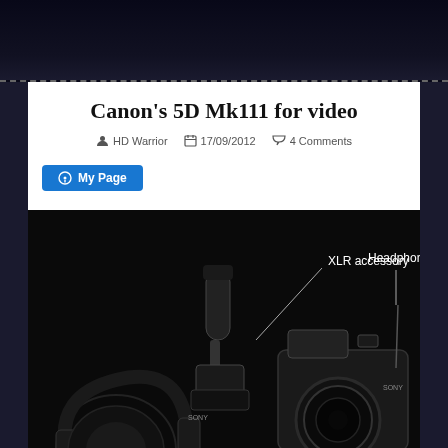Canon’s 5D Mk111 for video
HD Warrior  17/09/2012  4 Comments
[Figure (other): Blue button labeled 'My Page' with a circle-i icon]
[Figure (photo): Photo of Sony camera with XLR accessory microphone mounted on top and headphones, with labels: 'XLR accessory' and 'Headphone jack']